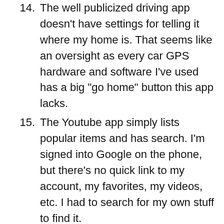14. The well publicized driving app doesn't have settings for telling it where my home is. That seems like an oversight as every car GPS hardware and software I've used has a big "go home" button this app lacks.
15. The Youtube app simply lists popular items and has search. I'm signed into Google on the phone, but there's no quick link to my account, my favorites, my videos, etc. I had to search for my own stuff to find it.
16. The app store title fonts are so large you can't read entire descriptions in portrait mode. On the plus side, if you download a paid app that doesn't work or sucks or wasn't what you were looking for, you can get an instant refund when uninstalling